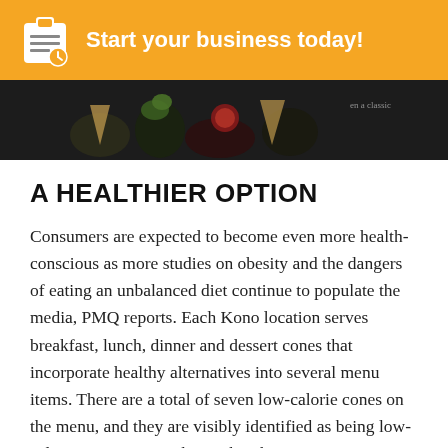Start your business today!
[Figure (photo): Dark food photo showing cones with vegetables and toppings, with text 'en a classic' in the top right corner]
A HEALTHIER OPTION
Consumers are expected to become even more health-conscious as more studies on obesity and the dangers of eating an unbalanced diet continue to populate the media, PMQ reports. Each Kono location serves breakfast, lunch, dinner and dessert cones that incorporate healthy alternatives into several menu items. There are a total of seven low-calorie cones on the menu, and they are visibly identified as being low-calorie so consumers know that they